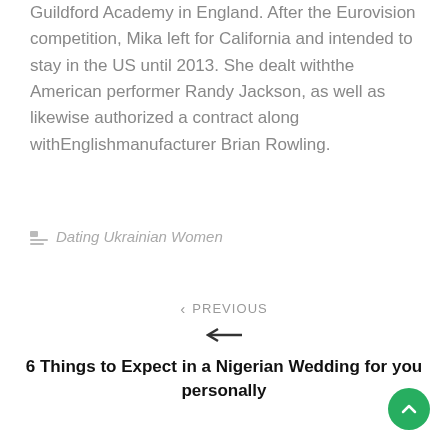Guildford Academy in England. After the Eurovision competition, Mika left for California and intended to stay in the US until 2013. She dealt withthe American performer Randy Jackson, as well as likewise authorized a contract along withEnglishmanufacturer Brian Rowling.
Dating Ukrainian Women
< PREVIOUS
← 6 Things to Expect in a Nigerian Wedding for you personally